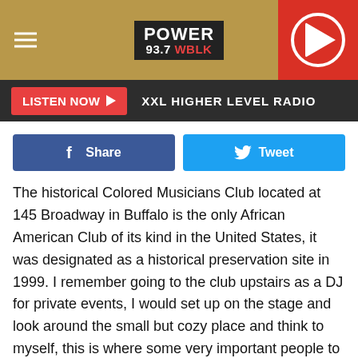[Figure (logo): Power 93.7 WBLK radio station header with hamburger menu, logo, and play button]
LISTEN NOW ▶  XXL HIGHER LEVEL RADIO
[Figure (screenshot): Facebook Share and Twitter Tweet social buttons]
The historical Colored Musicians Club located at 145 Broadway in Buffalo is the only African American Club of its kind in the United States, it was designated as a historical preservation site in 1999. I remember going to the club upstairs as a DJ for private events, I would set up on the stage and look around the small but cozy place and think to myself, this is where some very important people to the music industry have played.
According to challengernews.com, the preservation board approved the renovation and expansion of the 100-year old